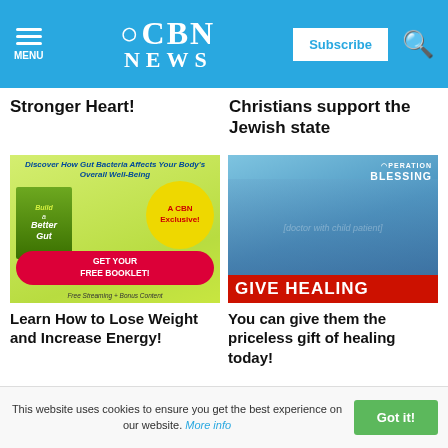CBN NEWS
Stronger Heart!
Christians support the Jewish state
[Figure (advertisement): CBN advertisement: Discover How Gut Bacteria Affects Your Body's Overall Well-Being. Build a Better Gut book cover. A CBN Exclusive! GET YOUR FREE BOOKLET! Free Streaming + Bonus Content]
[Figure (advertisement): Operation Blessing advertisement showing a doctor with a child patient. GIVE HEALING banner.]
Learn How to Lose Weight and Increase Energy!
You can give them the priceless gift of healing today!
This website uses cookies to ensure you get the best experience on our website. More info